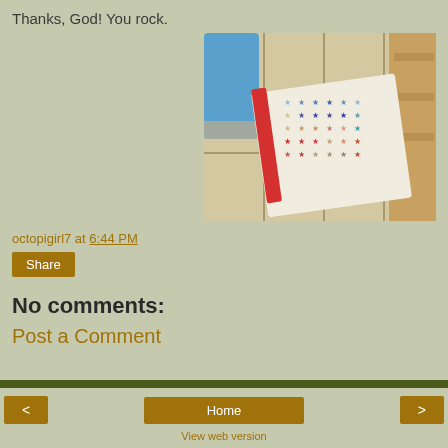Thanks, God! You rock.
[Figure (photo): A photo of colorful star-shaped stickers on a sheet, with a blue object and tile surface visible]
octopigirl7 at 6:44 PM
Share
No comments:
Post a Comment
< Home > View web version